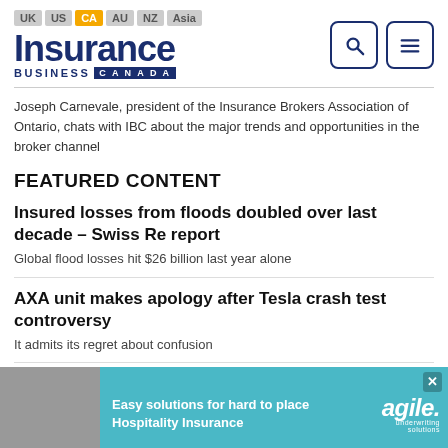UK US CA AU NZ Asia | Insurance Business Canada
Joseph Carnevale, president of the Insurance Brokers Association of Ontario, chats with IBC about the major trends and opportunities in the broker channel
FEATURED CONTENT
Insured losses from floods doubled over last decade – Swiss Re report
Global flood losses hit $26 billion last year alone
AXA unit makes apology after Tesla crash test controversy
It admits its regret about confusion
What are the... and roofing in...
Commercial insurer discusses biggest market challenges, as well as
[Figure (infographic): Agile hospitality insurance advertisement banner: Easy solutions for hard to place Hospitality Insurance, with agile logo and close button]